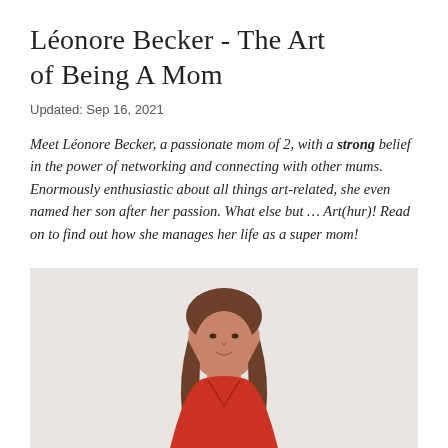Léonore Becker - The Art of Being A Mom
Updated: Sep 16, 2021
Meet Léonore Becker, a passionate mom of 2, with a strong belief in the power of networking and connecting with other mums. Enormously enthusiastic about all things art-related, she even named her son after her passion. What else but … Art(hur)! Read on to find out how she manages her life as a super mom!
[Figure (photo): Portrait photo of a woman with long brown hair wearing a red top, shown from the shoulders up against a light gray background.]